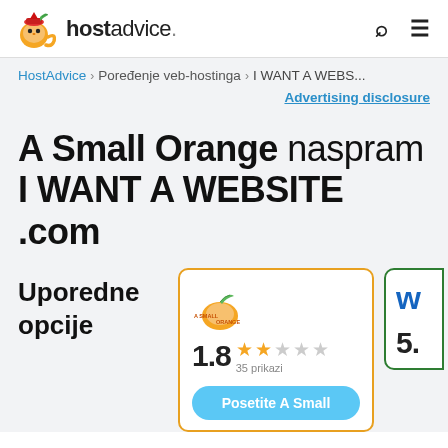hostadvice. [search] [menu]
HostAdvice > Poređenje veb-hostinga > I WANT A WEBS...
Advertising disclosure
A Small Orange naspram I WANT A WEBSITE .com
Uporedne opcije
[Figure (other): A Small Orange logo - orange with green leaf on top]
1.8  35 prikazi
Posetite A Small
[Figure (other): I WANT A WEBSITE partial logo, rating 5.]
5.